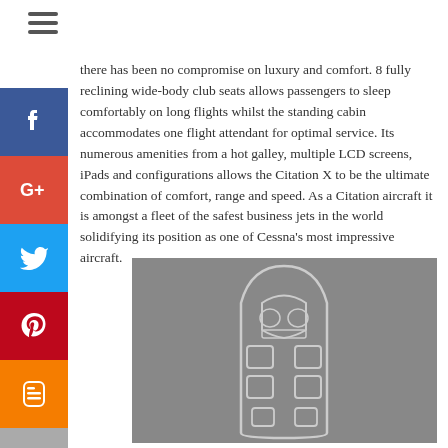there has been no compromise on luxury and comfort. 8 fully reclining wide-body club seats allows passengers to sleep comfortably on long flights whilst the standing cabin accommodates one flight attendant for optimal service. Its numerous amenities from a hot galley, multiple LCD screens, iPads and configurations allows the Citation X to be the ultimate combination of comfort, range and speed. As a Citation aircraft it is amongst a fleet of the safest business jets in the world solidifying its position as one of Cessna's most impressive aircraft.
[Figure (illustration): Top-down floor plan / schematic diagram of a business jet cabin layout showing seating arrangement, cockpit area, and cabin furniture in light lines on grey background]